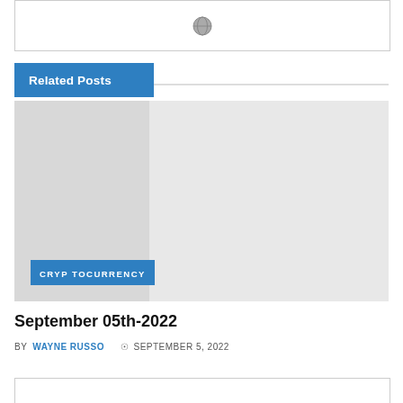[Figure (other): Top image box with globe/world icon centered]
Related Posts
[Figure (photo): Large card image placeholder with light gray background, left portion darker gray, and a CRYPTOCURRENCY badge overlay at bottom left]
September 05th-2022
BY WAYNE RUSSO  © SEPTEMBER 5, 2022
[Figure (other): Bottom card stub partially visible]